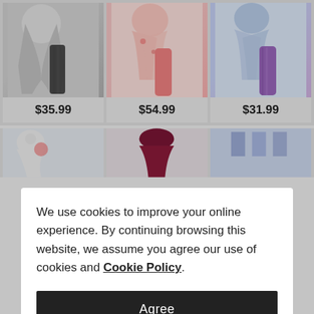[Figure (photo): Fashion product listing showing black and white tie-dye top with dark patterned capri leggings]
$35.99
[Figure (photo): Fashion product listing showing pink floral top with coral/salmon leggings]
$54.99
[Figure (photo): Fashion product listing showing light blue button-up top with purple patterned leggings]
$31.99
[Figure (photo): Partially visible fashion product – white and black item]
[Figure (photo): Partially visible fashion product – dark maroon/burgundy top]
[Figure (photo): Partially visible fashion product – blue patterned item]
We use cookies to improve your online experience. By continuing browsing this website, we assume you agree our use of cookies and Cookie Policy.
Agree